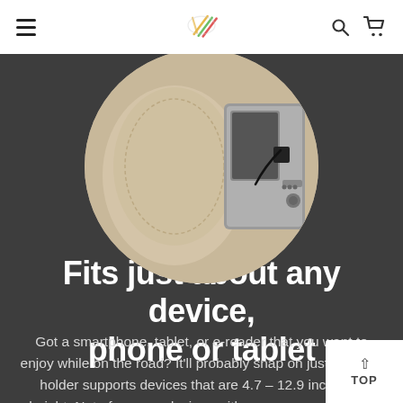Navigation header with menu, logo, search and cart icons
[Figure (photo): Circular cropped photo showing a car headrest with a tablet mount device attached, beige leather interior visible]
Fits just about any device, phone or tablet
Got a smartphone, tablet, or e-reader that you want to enjoy while on the road? It'll probably snap on just fine: our holder supports devices that are 4.7 – 12.9 inches in height. Note for some devices with covers or cases, you may need to remove them (depending on fit).